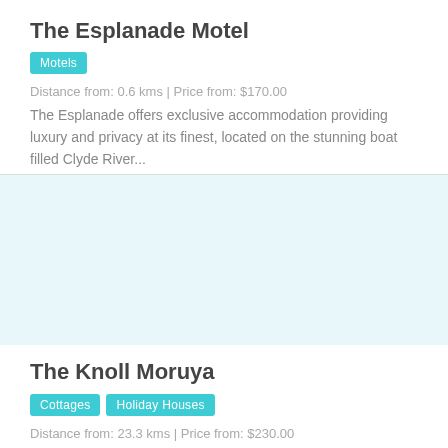The Esplanade Motel
Motels
Distance from: 0.6 kms | Price from: $170.00
The Esplanade offers exclusive accommodation providing luxury and privacy at its finest, located on the stunning boat filled Clyde River...
[Figure (photo): Photo area for The Knoll Moruya listing]
The Knoll Moruya
Cottages, Holiday Houses
Distance from: 23.3 kms | Price from: $230.00